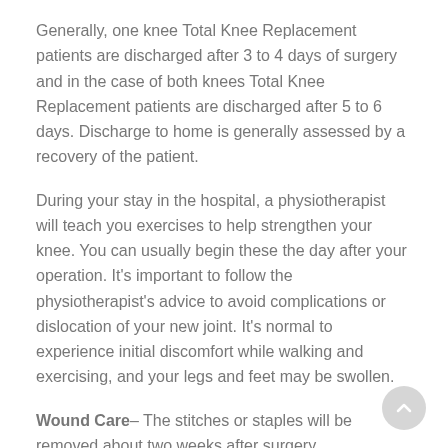Generally, one knee Total Knee Replacement patients are discharged after 3 to 4 days of surgery and in the case of both knees Total Knee Replacement patients are discharged after 5 to 6 days. Discharge to home is generally assessed by a recovery of the patient.
During your stay in the hospital, a physiotherapist will teach you exercises to help strengthen your knee. You can usually begin these the day after your operation. It's important to follow the physiotherapist's advice to avoid complications or dislocation of your new joint. It's normal to experience initial discomfort while walking and exercising, and your legs and feet may be swollen.
Wound Care– The stitches or staples will be removed about two weeks after surgery.